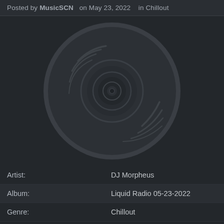Posted by MusicSCN   on May 23, 2022   in Chillout
[Figure (illustration): Vinyl record icon on dark background — concentric circles with groove lines and center label dot]
| Artist: | DJ Morpheus |
| Album: | Liquid Radio 05-23-2022 |
| Genre: | Chillout |